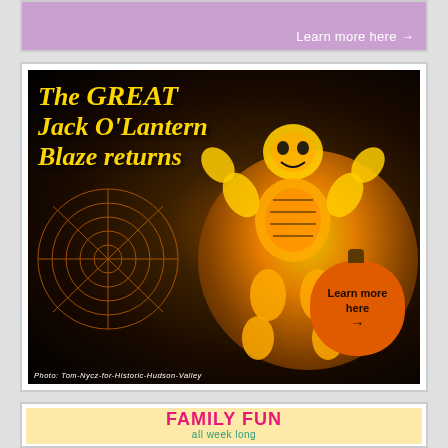[Figure (illustration): Top partial purple/lavender ad banner with 'Learn more here →' button in white text on right side]
[Figure (photo): The GREAT Jack O'Lantern Blaze returns — dark Halloween night scene with glowing jack-o-lantern skeleton figure, spider web pumpkin art, 'Learn more here →' orange pumpkin button, photo credit: Photo: Tom-Nycz-for-Historic-Hudson-Valley]
[Figure (illustration): FAMILY FUN all week long — cream/yellow background ad with pink bold title and teal subtitle, illustrated couple singing at bottom]